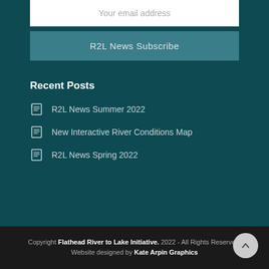Your email address
R2L News Subscribe
Recent Posts
R2L News Summer 2022
New Interactive River Conditions Map
R2L News Spring 2022
Copyright Flathead River to Lake Initiative. 2022 - All Rights Reserved. Website designed by Kate Arpin Graphics